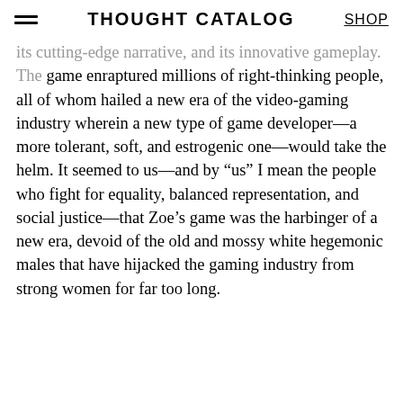THOUGHT CATALOG | SHOP
its cutting-edge narrative, and its innovative gameplay. The game enraptured millions of right-thinking people, all of whom hailed a new era of the video-gaming industry wherein a new type of game developer—a more tolerant, soft, and estrogenic one—would take the helm. It seemed to us—and by “us” I mean the people who fight for equality, balanced representation, and social justice—that Zoe’s game was the harbinger of a new era, devoid of the old and mossy white hegemonic males that have hijacked the gaming industry from strong women for far too long.